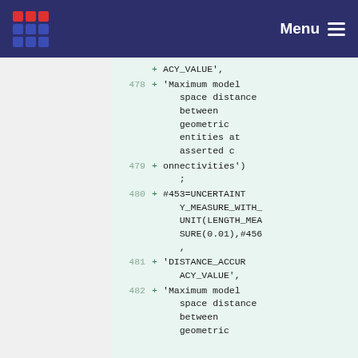Menu
478 + 'Maximum model space distance between geometric entities at asserted c
479 + onnectivities');
480 + #453=UNCERTAINTY_MEASURE_WITH_UNIT(LENGTH_MEASURE(0.01),#456,
481 + 'DISTANCE_ACCURACY_VALUE',
482 + 'Maximum model space distance between geometric